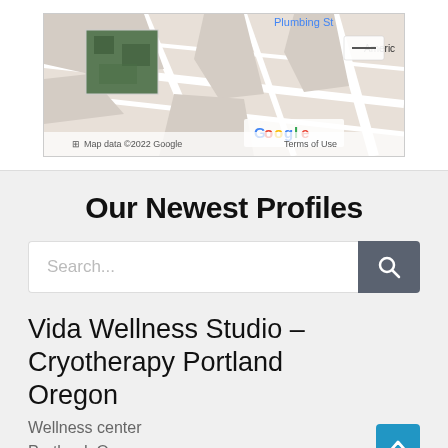[Figure (map): Google Maps partial view showing street map with a green vegetation thumbnail, Google logo, and 'Map data ©2022 Google  Terms of Use' text. 'Plumbing St' and 'Americ' partially visible at top/right.]
Our Newest Profiles
Search...
Vida Wellness Studio – Cryotherapy Portland Oregon
Wellness center
Portland, Oregon